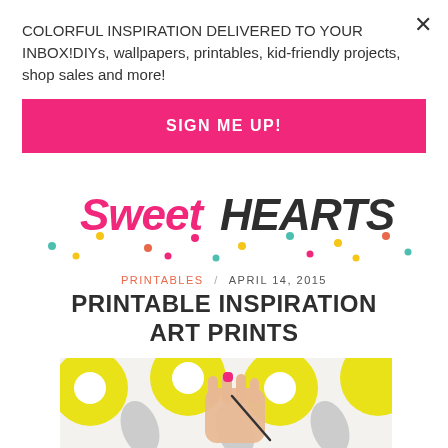COLORFUL INSPIRATION DELIVERED TO YOUR INBOX!DIYs, wallpapers, printables, kid-friendly projects, shop sales and more!
SIGN ME UP!
[Figure (logo): Sweet Hearts blog logo with colorful letters and decorative dots]
PRINTABLES / APRIL 14, 2015
PRINTABLE INSPIRATION ART PRINTS
[Figure (photo): Hand with pink nail polish holding a pen/wire against a background with large yellow and gray flower/tulip pattern]